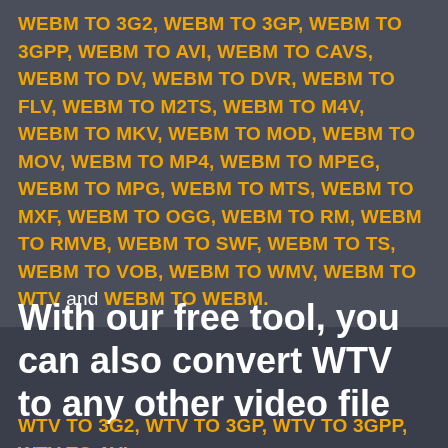WEBM TO 3G2, WEBM TO 3GP, WEBM TO 3GPP, WEBM TO AVI, WEBM TO CAVS, WEBM TO DV, WEBM TO DVR, WEBM TO FLV, WEBM TO M2TS, WEBM TO M4V, WEBM TO MKV, WEBM TO MOD, WEBM TO MOV, WEBM TO MP4, WEBM TO MPEG, WEBM TO MPG, WEBM TO MTS, WEBM TO MXF, WEBM TO OGG, WEBM TO RM, WEBM TO RMVB, WEBM TO SWF, WEBM TO TS, WEBM TO VOB, WEBM TO WMV, WEBM TO WTV and WEBM TO WEBM.
With our free tool, you can also convert WTV to any other video file
WTV TO 3G2, WTV TO 3GP, WTV TO 3GPP, WTV TO AVI, WTV TO CAVS, WTV TO DV, WTV TO DVR, WTV TO FLV,